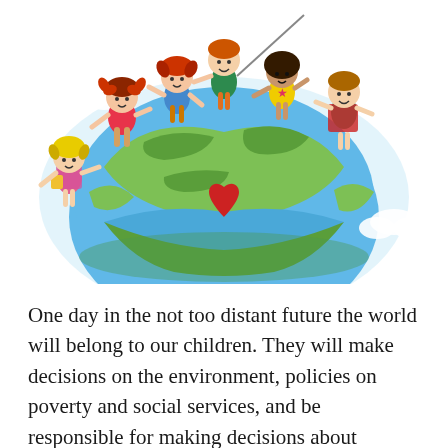[Figure (illustration): Cartoon illustration of five diverse children of different ethnicities standing on top of a globe/Earth, holding hands. The globe shows green landmasses and blue oceans with a red heart in the center. Clouds are visible around the globe. The children are smiling and appear joyful.]
One day in the not too distant future the world will belong to our children. They will make decisions on the environment, policies on poverty and social services, and be responsible for making decisions about resources, war, and